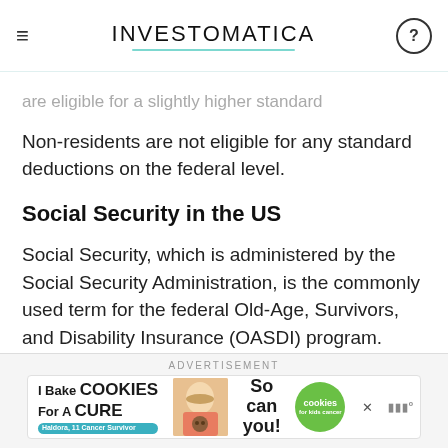INVESTOMATICA
are eligible for a slightly higher standard
Non-residents are not eligible for any standard deductions on the federal level.
Social Security in the US
Social Security, which is administered by the Social Security Administration, is the commonly used term for the federal Old-Age, Survivors, and Disability Insurance (OASDI) program.
[Figure (other): Advertisement banner for 'I Bake Cookies For A Cure' charity campaign featuring a young cancer survivor named Haldora, with a cookies for kids cancer logo]